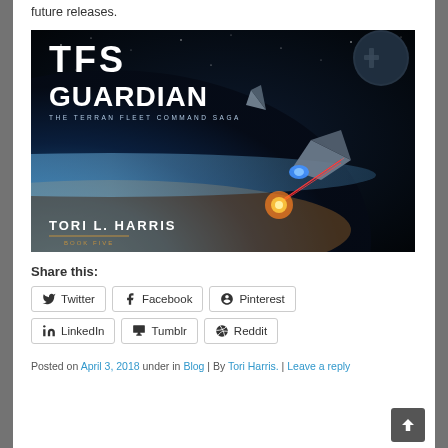future releases.
[Figure (photo): Book cover for 'TFS Guardian: The Terran Fleet Command Saga' by Tori L. Harris, Book Five. Shows spaceships in combat over Earth with laser beams and explosions against a space backdrop.]
Share this:
Twitter | Facebook | Pinterest | LinkedIn | Tumblr | Reddit
Posted on April 3, 2018 under in Blog | By Tori Harris. | Leave a reply